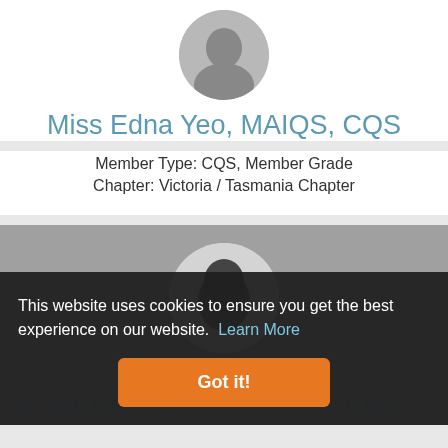[Figure (photo): Circular avatar photo placeholder for Miss Edna Yeo, partially visible at top]
Miss Edna Yeo, MAIQS, CQS
Member Type: CQS, Member Grade
Chapter: Victoria / Tasmania Chapter
[Figure (photo): Circular avatar photo of Mr Sai Kuen Yeung, partially visible]
This website uses cookies to ensure you get the best experience on our website.  Learn More
Got it!
Mr Sai Kuen Yeung, MAIQS, CQS